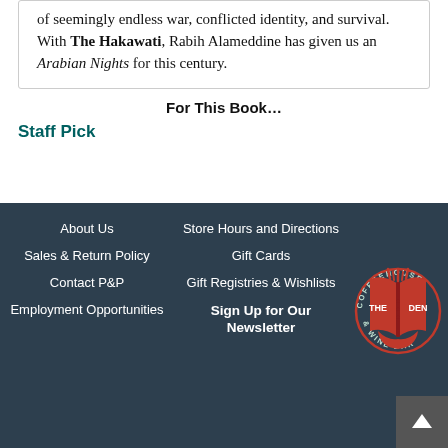of seemingly endless war, conflicted identity, and survival. With The Hakawati, Rabih Alameddine has given us an Arabian Nights for this century.
For This Book…
Staff Pick
About Us
Sales & Return Policy
Contact P&P
Employment Opportunities
Store Hours and Directions
Gift Cards
Gift Registries & Wishlists
Sign Up for Our Newsletter
[Figure (logo): The Den Coffeehouse & Wine Bar circular logo in red with an open book illustration]